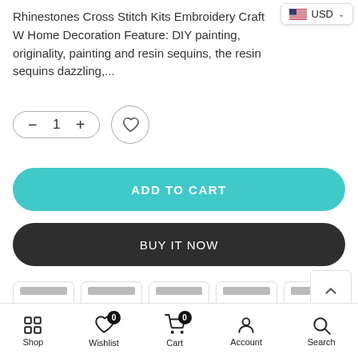Rhinestones Cross Stitch Kits Embroidery Craft W Home Decoration Feature: DIY painting, originality, painting and resin sequins, the resin sequins dazzling,...
[Figure (screenshot): USD currency selector badge with US flag and dropdown chevron]
[Figure (screenshot): Quantity control with minus, 1, plus buttons in pill shape and a circle wishlist heart button]
[Figure (screenshot): Teal ADD TO CART button, pill-shaped]
[Figure (screenshot): Dark BUY IT NOW button, pill-shaped]
[Figure (screenshot): Five payment method card icons in a row]
[Figure (screenshot): Scroll to top arrow button]
Ask a Question
[Figure (screenshot): Bottom navigation bar with Shop, Wishlist (badge 0), Cart (badge 0), Account, Search icons]